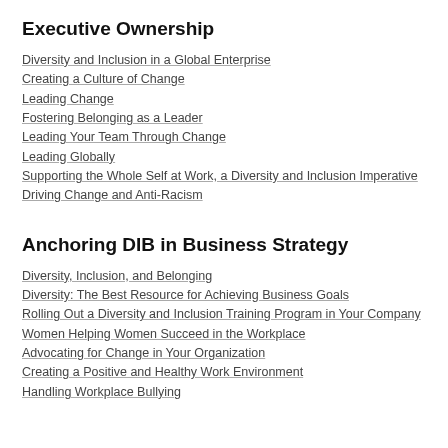Executive Ownership
Diversity and Inclusion in a Global Enterprise
Creating a Culture of Change
Leading Change
Fostering Belonging as a Leader
Leading Your Team Through Change
Leading Globally
Supporting the Whole Self at Work, a Diversity and Inclusion Imperative
Driving Change and Anti-Racism
Anchoring DIB in Business Strategy
Diversity, Inclusion, and Belonging
Diversity: The Best Resource for Achieving Business Goals
Rolling Out a Diversity and Inclusion Training Program in Your Company
Women Helping Women Succeed in the Workplace
Advocating for Change in Your Organization
Creating a Positive and Healthy Work Environment
Handling Workplace Bullying